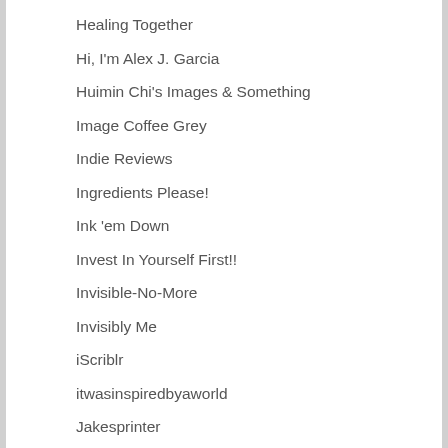Healing Together
Hi, I'm Alex J. Garcia
Huimin Chi's Images & Something
Image Coffee Grey
Indie Reviews
Ingredients Please!
Ink 'em Down
Invest In Yourself First!!
Invisible-No-More
Invisibly Me
iScriblr
itwasinspiredbyaworld
Jakesprinter
Joanne's Bargains
Johnathan Pugh